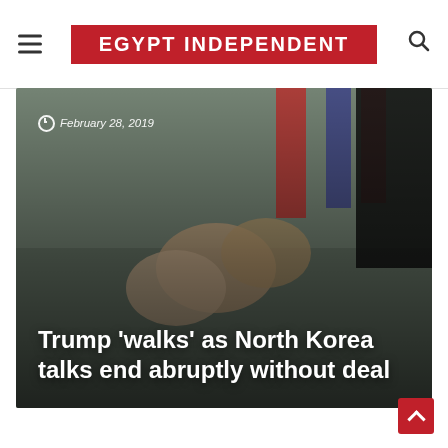EGYPT INDEPENDENT
[Figure (photo): Hero image showing hands shaking or gesturing with flags in the background, overlaid with date and article title text]
February 28, 2019
Trump 'walks' as North Korea talks end abruptly without deal